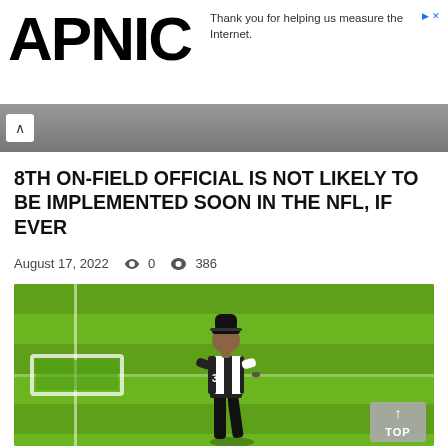APNIC
Thank you for helping us measure the Internet.
8TH ON-FIELD OFFICIAL IS NOT LIKELY TO BE IMPLEMENTED SOON IN THE NFL, IF EVER
August 17, 2022  0  386
[Figure (photo): NFL referee in black and white striped uniform with number 33, standing on a green football field with yard line markings visible]